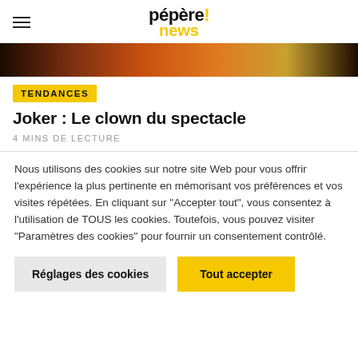pépère! news
[Figure (photo): Partial view of a colorful clown or Joker costume in orange and yellow tones]
TENDANCES
Joker : Le clown du spectacle
4 MINS DE LECTURE
Nous utilisons des cookies sur notre site Web pour vous offrir l'expérience la plus pertinente en mémorisant vos préférences et vos visites répétées. En cliquant sur "Accepter tout", vous consentez à l'utilisation de TOUS les cookies. Toutefois, vous pouvez visiter "Paramètres des cookies" pour fournir un consentement contrôlé.
Réglages des cookies | Tout accepter